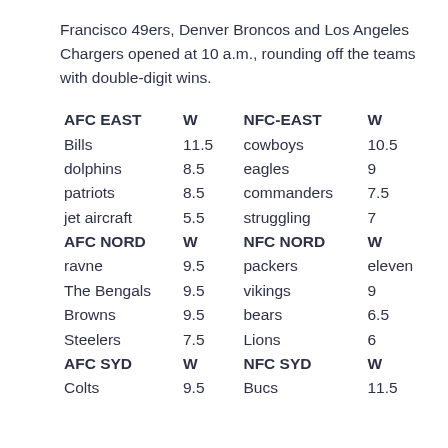Francisco 49ers, Denver Broncos and Los Angeles Chargers opened at 10 a.m., rounding off the teams with double-digit wins.
| AFC EAST | W | NFC-EAST | W |
| --- | --- | --- | --- |
| Bills | 11.5 | cowboys | 10.5 |
| dolphins | 8.5 | eagles | 9 |
| patriots | 8.5 | commanders | 7.5 |
| jet aircraft | 5.5 | struggling | 7 |
| AFC NORD | W | NFC NORD | W |
| ravne | 9.5 | packers | eleven |
| The Bengals | 9.5 | vikings | 9 |
| Browns | 9.5 | bears | 6.5 |
| Steelers | 7.5 | Lions | 6 |
| AFC SYD | W | NFC SYD | W |
| Colts | 9.5 | Bucs | 11.5 |